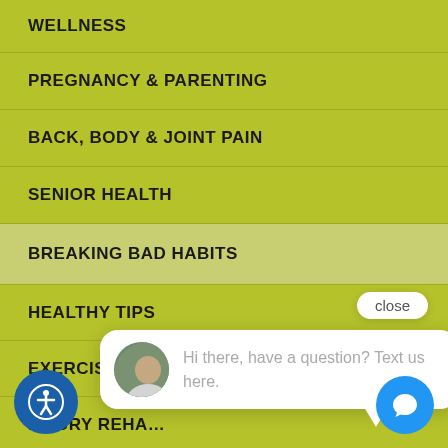WELLNESS
PREGNANCY & PARENTING
BACK, BODY & JOINT PAIN
SENIOR HEALTH
BREAKING BAD HABITS
HEALTHY TIPS
EXERCISE & FITNESS
INJURY REHAB
KID'S HEALTH
ILLNESS PREVENTION
[Figure (screenshot): Chat popup with avatar showing 'Hi there, have a question? Text us here.' with close button, blue chat button, and accessibility icon]